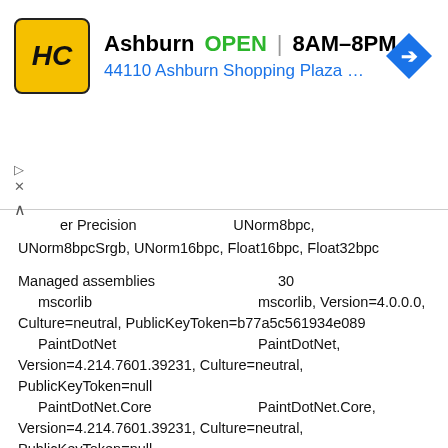[Figure (screenshot): Ad banner showing HC (Hardware store) location in Ashburn, OPEN 8AM-8PM, address 44110 Ashburn Shopping Plaza 190, A..., with navigation icon]
er Precision    UNorm8bpc, UNorm8bpcSrgb, UNorm16bpc, Float16bpc, Float32bpc
Managed assemblies    30
    mscorlib    mscorlib, Version=4.0.0.0, Culture=neutral, PublicKeyToken=b77a5c561934e089
    PaintDotNet    PaintDotNet, Version=4.214.7601.39231, Culture=neutral, PublicKeyToken=null
    PaintDotNet.Core    PaintDotNet.Core, Version=4.214.7601.39231, Culture=neutral, PublicKeyToken=null
    PaintDotNet.Base    PaintDotNet.Base, Version=4.214.7601.39231, Culture=neutral, PublicKeyToken=null
    WindowsBase    WindowsBase, Version=4.0.0.0, Culture=neutral, PublicKeyToken=31bf3856ad364e35
    System.Core    System.Core, Version=4.0.0.0, Culture=neutral,